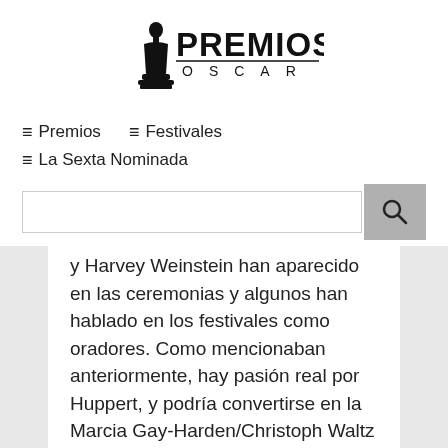[Figure (logo): Premios Oscar logo with Oscar statuette silhouette and text PREMIOS OSCAR]
≡ Premios   ≡ Festivales   ≡ La Sexta Nominada
y Harvey Weinstein han aparecido en las ceremonias y algunos han hablado en los festivales como oradores. Como mencionaban anteriormente, hay pasión real por Huppert, y podría convertirse en la Marcia Gay-Harden/Christoph Waltz de la